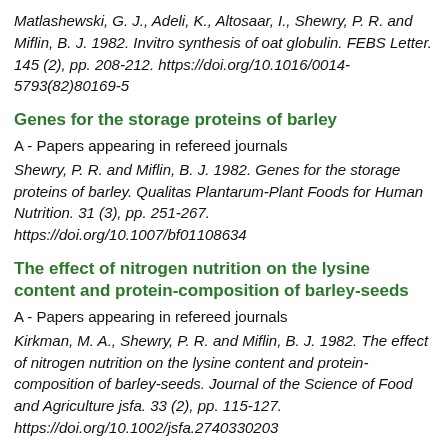Matlashewski, G. J., Adeli, K., Altosaar, I., Shewry, P. R. and Miflin, B. J. 1982. Invitro synthesis of oat globulin. FEBS Letter. 145 (2), pp. 208-212. https://doi.org/10.1016/0014-5793(82)80169-5
Genes for the storage proteins of barley
A - Papers appearing in refereed journals
Shewry, P. R. and Miflin, B. J. 1982. Genes for the storage proteins of barley. Qualitas Plantarum-Plant Foods for Human Nutrition. 31 (3), pp. 251-267. https://doi.org/10.1007/bf01108634
The effect of nitrogen nutrition on the lysine content and protein-composition of barley-seeds
A - Papers appearing in refereed journals
Kirkman, M. A., Shewry, P. R. and Miflin, B. J. 1982. The effect of nitrogen nutrition on the lysine content and protein-composition of barley-seeds. Journal of the Science of Food and Agriculture jsfa. 33 (2), pp. 115-127. https://doi.org/10.1002/jsfa.2740330203